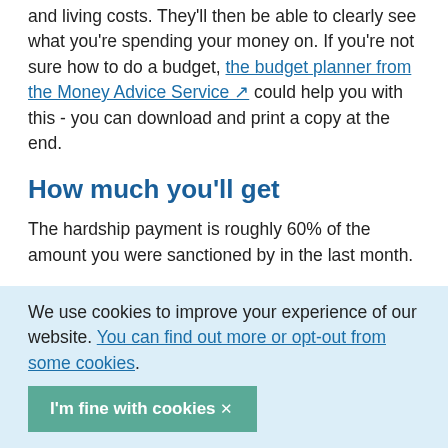and living costs. They'll then be able to clearly see what you're spending your money on. If you're not sure how to do a budget, the budget planner from the Money Advice Service could help you with this - you can download and print a copy at the end.
How much you'll get
The hardship payment is roughly 60% of the amount you were sanctioned by in the last month.
If you're still struggling to cover your costs, there may
We use cookies to improve your experience of our website. You can find out more or opt-out from some cookies.
I'm fine with cookies ✕